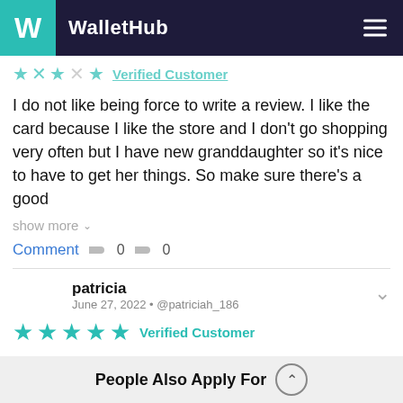WalletHub
★ ★ ★  Verified Customer
I do not like being force to write a review. I like the card because I like the store and I don't go shopping very often but I have new granddaughter so it's nice to have to get her things. So make sure there's a good
show more
Comment  👍 0  👎 0
patricia
June 27, 2022 • @patriciah_186
★★★★★  Verified Customer
The TJX card offers rewards and is my go to card for
People Also Apply For